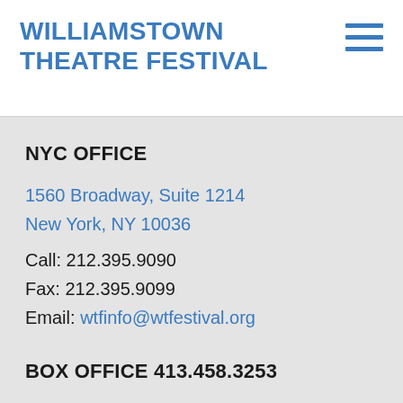WILLIAMSTOWN THEATRE FESTIVAL
NYC OFFICE
1560 Broadway, Suite 1214
New York, NY 10036
Call: 212.395.9090
Fax: 212.395.9099
Email: wtfinfo@wtfestival.org
BOX OFFICE 413.458.3253